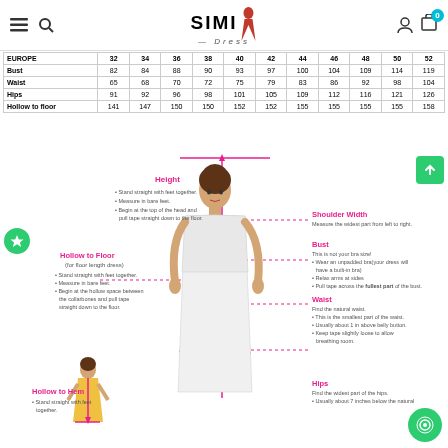SIMI Dress
| EUROPE | 32 | 34 | 36 | 38 | 40 | 42 | 44 | 46 | 48 | 50 | 52 |
| --- | --- | --- | --- | --- | --- | --- | --- | --- | --- | --- | --- |
| Bust | 82 | 84 | 88 | 90 | 93 | 97 | 100 | 104 | 109 | 114 | 119 |
| Waist | 65 | 68 | 70 | 72 | 75 | 79 | 83 | 86 | 92 | 98 | 104 |
| Hips | 91 | 92 | 96 | 98 | 101 | 105 | 109 | 112 | 116 | 121 | 126 |
| Hollow to floor | 141 | 147 | 150 | 150 | 152 | 152 | 155 | 155 | 155 | 155 | 158 |
[Figure (infographic): Body measurement guide showing a woman in a white dress with labeled measurement lines: Height, Hollow to Floor, Hollow to Hem on the left; Shoulder Width, Bust, Waist, Hips on the right. Dotted pink lines point to measurement positions on the figure.]